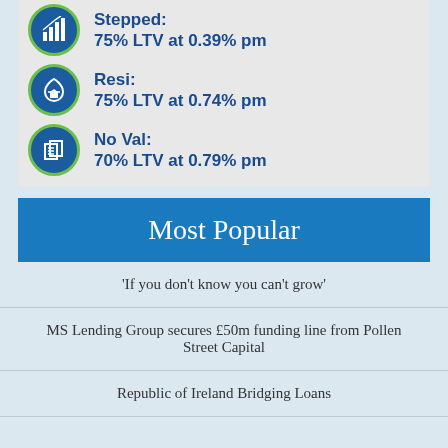Stepped: 75% LTV at 0.39% pm
Resi: 75% LTV at 0.74% pm
No Val: 70% LTV at 0.79% pm
Most Popular
‘If you don’t know you can’t grow’
MS Lending Group secures £50m funding line from Pollen Street Capital
Republic of Ireland Bridging Loans